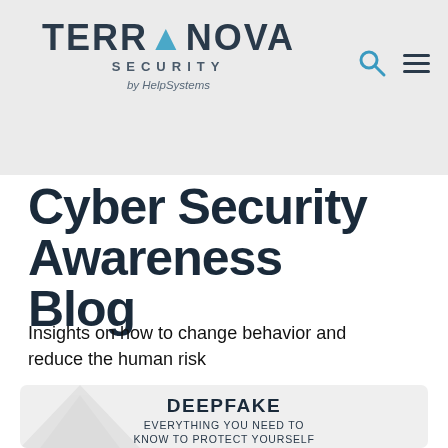TERRANOVA SECURITY by HelpSystems
Cyber Security Awareness Blog
Insights on how to change behavior and reduce the human risk
[Figure (infographic): Deepfake infographic card with title 'DEEPFAKE' and subtitle 'EVERYTHING YOU NEED TO KNOW TO PROTECT YOURSELF' with partial illustration at bottom]